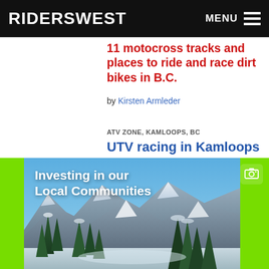RIDERSWEST  MENU
11 motocross tracks and places to ride and race dirt bikes in B.C.
by Kirsten Armleder
ATV ZONE, KAMLOOPS, BC
UTV racing in Kamloops
by Kirsten Armleder
[Figure (photo): Advertisement photo showing snow-capped mountains and pine trees with text 'Investing in our Local Communities' overlaid on a bright green background border]